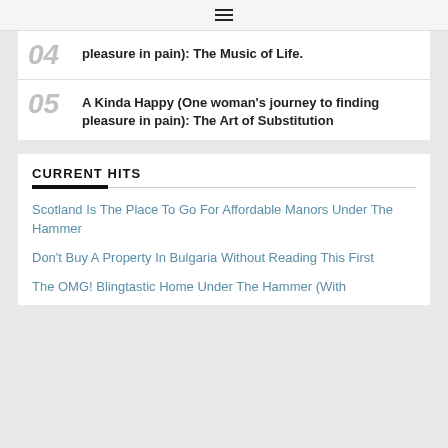≡
04  pleasure in pain): The Music of Life.
05  A Kinda Happy (One woman's journey to finding pleasure in pain): The Art of Substitution
CURRENT HITS
Scotland Is The Place To Go For Affordable Manors Under The Hammer
Don't Buy A Property In Bulgaria Without Reading This First
The OMG! Blingtastic Home Under The Hammer (With